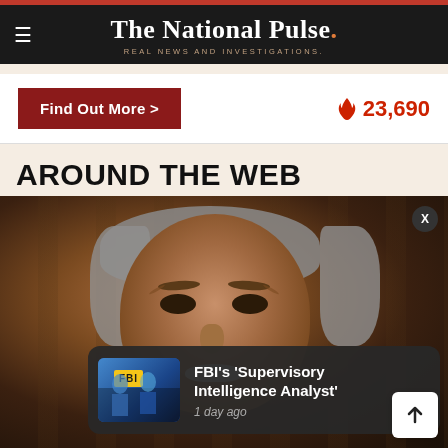The National Pulse. REAL NEWS AND INVESTIGATIONS.
Find Out More >
🔥 23,690
AROUND THE WEB
[Figure (photo): Portrait photo of an elderly man with grey hair and mustache, dark background with vertical panels]
FBI's 'Supervisory Intelligence Analyst' 1 day ago